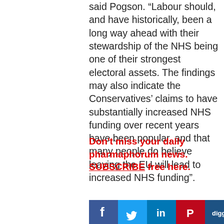said Pogson. “Labour should, and have historically, been a long way ahead with their stewardship of the NHS being one of their strongest electoral assets. The findings may also indicate the Conservatives’ claims to have substantially increased NHS funding over recent years have been popular, and that many people do believe leaving the EU will lead to increased NHS funding”.
Don't miss your daily pharmaphorum news.
SUBSCRIBE free here.
[Figure (other): Social media sharing icons: Facebook (blue), Twitter (light blue), LinkedIn (dark blue), Pinterest (red), Digg (dark blue), StumbleUpon (orange)]